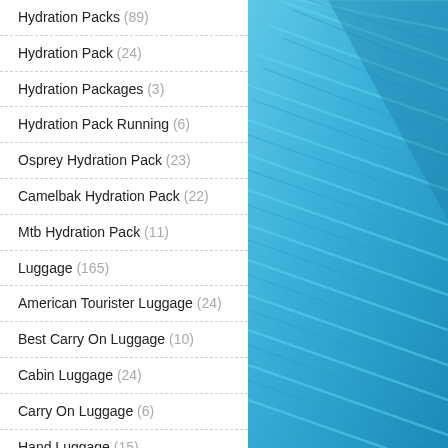Hydration Packs (89)
Hydration Pack (24)
Hydration Packages (3)
Hydration Pack Running (6)
Osprey Hydration Pack (23)
Camelbak Hydration Pack (22)
Mtb Hydration Pack (11)
Luggage (165)
American Tourister Luggage (24)
Best Carry On Luggage (10)
Cabin Luggage (24)
Carry On Luggage (6)
Hand Luggage (15)
Kids Luggage (14)
Luggage (10)
Luggage Bag (13)
[Figure (photo): Blue textured surface, possibly a bag or pack material, shown on the right side of the page]